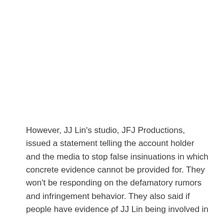However, JJ Lin's studio, JFJ Productions, issued a statement telling the account holder and the media to stop false insinuations in which concrete evidence cannot be provided for. They won't be responding on the defamatory rumors and infringement behavior. They also said if people have evidence of JJ Lin being involved in
v